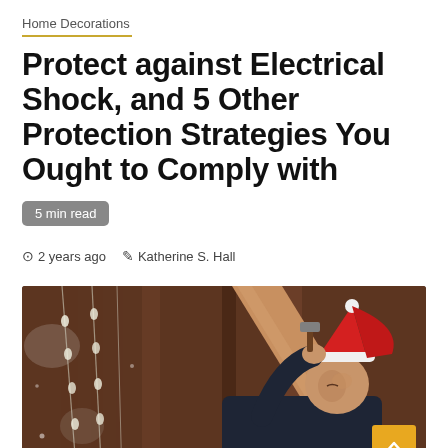Home Decorations
Protect against Electrical Shock, and 5 Other Protection Strategies You Ought to Comply with
5 min read
2 years ago  Katherine S. Hall
[Figure (photo): A man wearing a Santa hat hammering Christmas lights onto a wooden board indoors. A yellow scroll-to-top button is overlaid in the bottom right corner.]